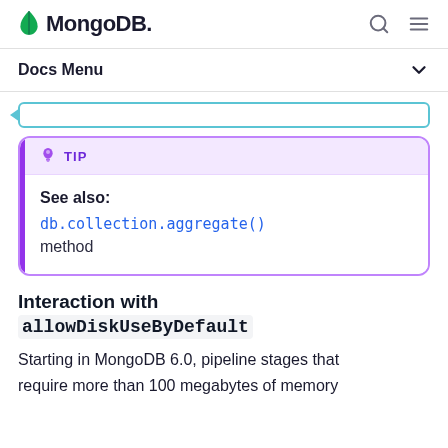MongoDB Docs Menu
TIP
See also:
db.collection.aggregate()
method
Interaction with allowDiskUseByDefault
Starting in MongoDB 6.0, pipeline stages that require more than 100 megabytes of memory